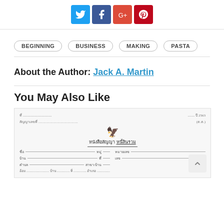[Figure (other): Social sharing buttons: Twitter (blue), Facebook (dark blue), Google+ (red), Pinterest (dark red)]
BEGINNING
BUSINESS
MAKING
PASTA
About the Author: Jack A. Martin
You May Also Like
[Figure (photo): A scanned Thai government document with an emblem, Thai script title reading 'หนังสือสัญญา' (contract/agreement), and form fields in Thai language]